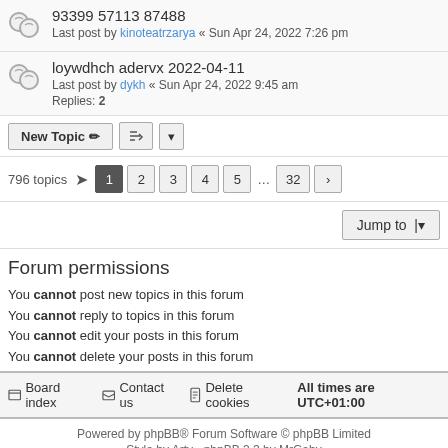93399 57113 87488 — Last post by kinoteatrzarya « Sun Apr 24, 2022 7:26 pm
loywdhch adervx 2022-04-11 — Last post by dykh « Sun Apr 24, 2022 9:45 am — Replies: 2
New Topic | sort | dropdown | 796 topics | page 1 2 3 4 5 ... 32 >
Jump to
Forum permissions
You cannot post new topics in this forum
You cannot reply to topics in this forum
You cannot edit your posts in this forum
You cannot delete your posts in this forum
Board index | Contact us | Delete cookies | All times are UTC+01:00
Powered by phpBB® Forum Software © phpBB Limited | Style by Arty - phpBB 3.3 by MrGaby | Privacy | Terms